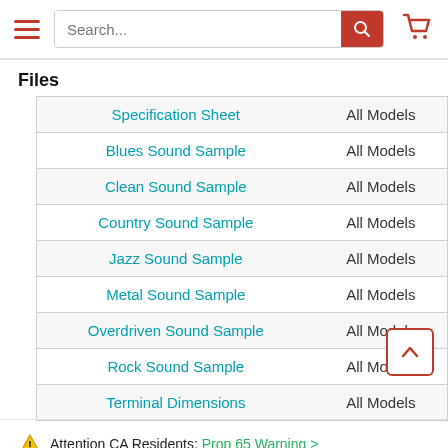Search bar with hamburger menu and cart icon
Files
| File | Models |
| --- | --- |
| Specification Sheet | All Models |
| Blues Sound Sample | All Models |
| Clean Sound Sample | All Models |
| Country Sound Sample | All Models |
| Jazz Sound Sample | All Models |
| Metal Sound Sample | All Models |
| Overdriven Sound Sample | All Models |
| Rock Sound Sample | All Models |
| Terminal Dimensions | All Models |
Attention CA Residents: Prop 65 Warning >